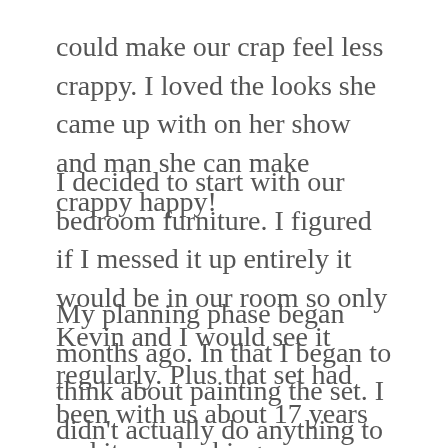could make our crap feel less crappy. I loved the looks she came up with on her show and man she can make crappy happy!
I decided to start with our bedroom furniture. I figured if I messed it up entirely it would be in our room so only Kevin and I would see it regularly. Plus that set had been with us about 17 years and it was looking very worn.
My planning phase began months ago. In that I began to think about painting the set. I didn’t actually do anything to prepare for the project. My thinking phase lasted a long time this time. I’m usually much more impulsive. I figured the delay was perhaps because I felt guilty about painting nice wood furniture. I really did -even